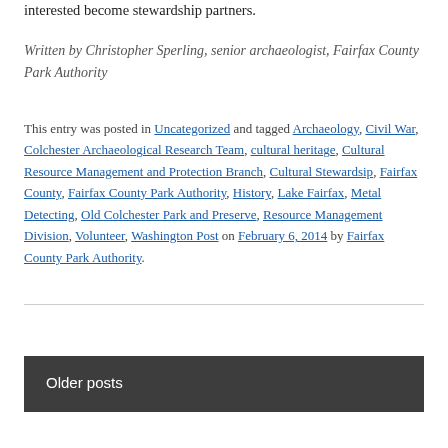interested become stewardship partners.
Written by Christopher Sperling, senior archaeologist, Fairfax County Park Authority
This entry was posted in Uncategorized and tagged Archaeology, Civil War, Colchester Archaeological Research Team, cultural heritage, Cultural Resource Management and Protection Branch, Cultural Stewardsip, Fairfax County, Fairfax County Park Authority, History, Lake Fairfax, Metal Detecting, Old Colchester Park and Preserve, Resource Management Division, Volunteer, Washington Post on February 6, 2014 by Fairfax County Park Authority.
Older posts